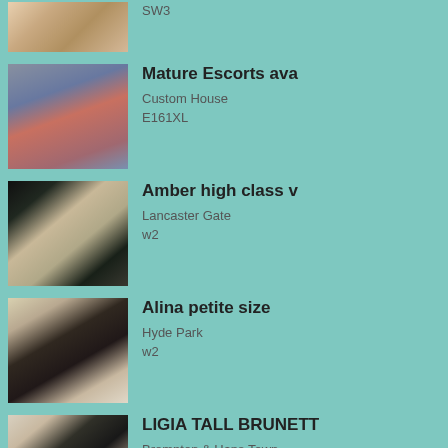[Figure (photo): Partial listing thumbnail cut off at top]
SW3
[Figure (photo): Blonde woman in red bra, Mature Escorts ava listing]
Mature Escorts ava
Custom House
E161XL
[Figure (photo): Blonde woman posing, Amber high class v listing]
Amber high class v
Lancaster Gate
w2
[Figure (photo): Woman with ombre hair, Alina petite size listing]
Alina petite size
Hyde Park
w2
[Figure (photo): Dark haired woman, LIGIA TALL BRUNETT listing]
LIGIA TALL BRUNETT
Brompton & Hans Town
SW3